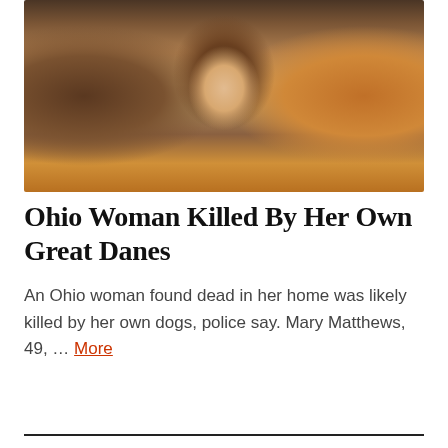[Figure (photo): A woman with long brown/blonde hair smiling, taking a selfie indoors in a bedroom setting]
Ohio Woman Killed By Her Own Great Danes
An Ohio woman found dead in her home was likely killed by her own dogs, police say. Mary Matthews, 49, … More